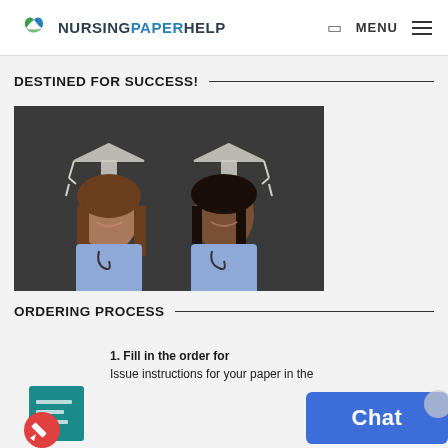NURSINGPAPERHELP — MENU
DESTINED FOR SUCCESS!
[Figure (photo): Two female nursing students in blue scrubs with stethoscopes smiling in front of a blackboard with chalk-drawn graduation caps]
ORDERING PROCESS
[Figure (illustration): Red and teal order form icon]
1. Fill in the order for
Issue instructions for your paper in the